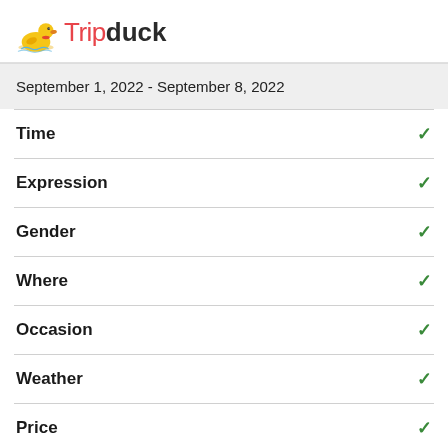Tripduck
September 1, 2022 - September 8, 2022
Time
Expression
Gender
Where
Occasion
Weather
Price